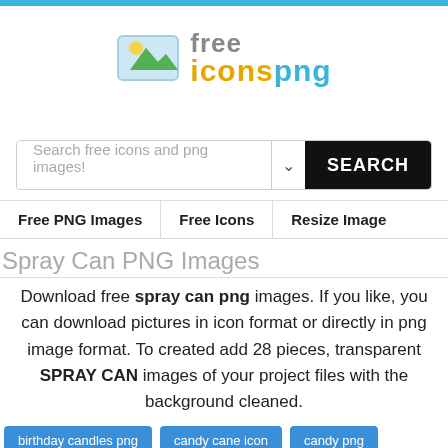[Figure (logo): Free Icons PNG logo with image icon and text 'free iconsPNG']
Search free icons and png images!
SEARCH
Free PNG Images | Free Icons | Resize Image
Spray Can PNG Images
Download free spray can png images. If you like, you can download pictures in icon format or directly in png image format. To created add 28 pieces, transparent SPRAY CAN images of your project files with the background cleaned.
birthday candles png
candy cane icon
candy png